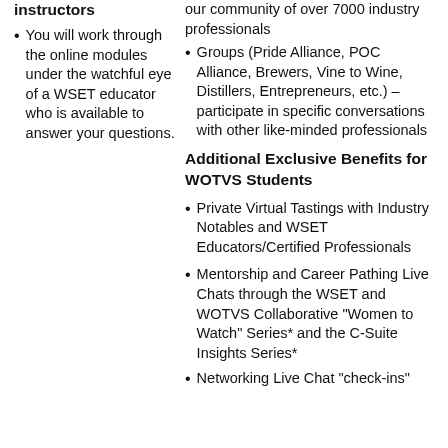instructors
You will work through the online modules under the watchful eye of a WSET educator who is available to answer your questions.
our community of over 7000 industry professionals
Groups (Pride Alliance, POC Alliance, Brewers, Vine to Wine, Distillers, Entrepreneurs, etc.) – participate in specific conversations with other like-minded professionals
Additional Exclusive Benefits for WOTVS Students
Private Virtual Tastings with Industry Notables and WSET Educators/Certified Professionals
Mentorship and Career Pathing Live Chats through the WSET and WOTVS Collaborative "Women to Watch" Series* and the C-Suite Insights Series*
Networking Live Chat "check-ins"